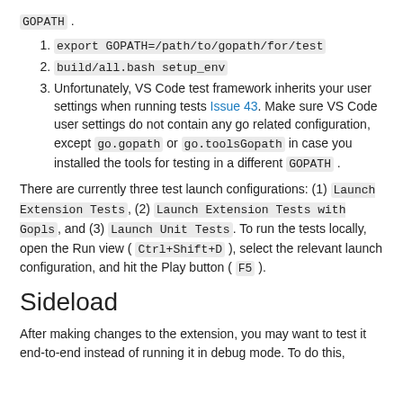GOPATH .
export GOPATH=/path/to/gopath/for/test
build/all.bash setup_env
Unfortunately, VS Code test framework inherits your user settings when running tests Issue 43. Make sure VS Code user settings do not contain any go related configuration, except go.gopath or go.toolsGopath in case you installed the tools for testing in a different GOPATH .
There are currently three test launch configurations: (1) Launch Extension Tests, (2) Launch Extension Tests with Gopls, and (3) Launch Unit Tests. To run the tests locally, open the Run view ( Ctrl+Shift+D ), select the relevant launch configuration, and hit the Play button ( F5 ).
Sideload
After making changes to the extension, you may want to test it end-to-end instead of running it in debug mode. To do this,